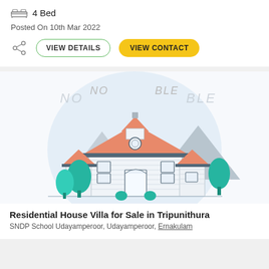4 Bed
Posted On 10th Mar 2022
VIEW DETAILS
VIEW CONTACT
[Figure (illustration): Illustration of a residential house/villa with orange roof, white walls, teal trees, against a light blue circular background. Watermark text 'NOT AVAILABLE' visible.]
Residential House Villa for Sale in Tripunithura
SNDP School Udayamperoor, Udayamperoor, Ernakulam